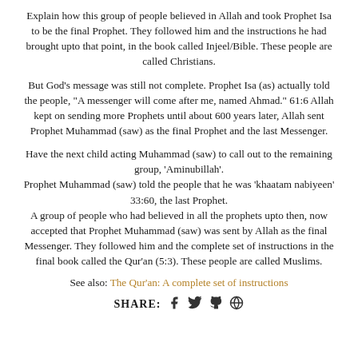Explain how this group of people believed in Allah and took Prophet Isa to be the final Prophet. They followed him and the instructions he had brought upto that point, in the book called Injeel/Bible. These people are called Christians.
But God's message was still not complete. Prophet Isa (as) actually told the people, "A messenger will come after me, named Ahmad." 61:6 Allah kept on sending more Prophets until about 600 years later, Allah sent Prophet Muhammad (saw) as the final Prophet and the last Messenger.
Have the next child acting Muhammad (saw) to call out to the remaining group, 'Aminubillah'. Prophet Muhammad (saw) told the people that he was 'khaatam nabiyeen' 33:60, the last Prophet. A group of people who had believed in all the prophets upto then, now accepted that Prophet Muhammad (saw) was sent by Allah as the final Messenger. They followed him and the complete set of instructions in the final book called the Qur'an (5:3). These people are called Muslims.
See also: The Qur'an: A complete set of instructions
SHARE: